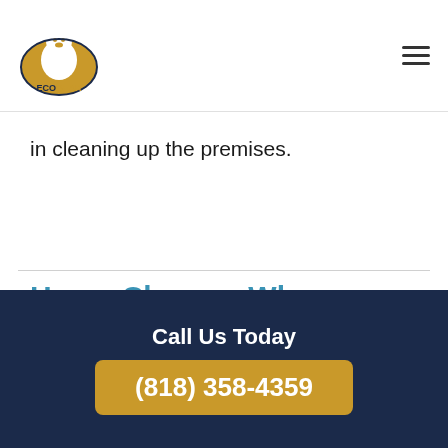ECOBEAR (logo and navigation)
in cleaning up the premises.
Home Cleanup When a Hoarder Passes Away
There are two common situations involving a hoarder who dies. First, you may have a
Call Us Today
(818) 358-4359